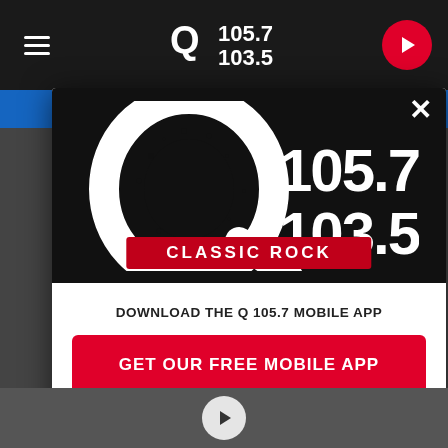[Figure (screenshot): Q 105.7 / 103.5 Classic Rock radio station website screenshot with modal popup overlay showing app download prompt]
[Figure (logo): Q 105.7 / 103.5 Classic Rock radio station logo on black background]
DOWNLOAD THE Q 105.7 MOBILE APP
GET OUR FREE MOBILE APP
Q&A: Demi Lovato Felt 'Stale' Perf...
Also listen on:
[Figure (logo): Amazon Alexa logo]